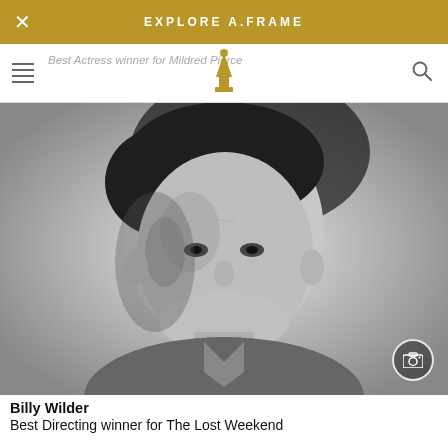EXPLORE A.FRAME
Best Actress winner for Mildred Pierce
[Figure (photo): Black and white portrait photograph of Billy Wilder, a man in a suit looking directly at the camera, with dramatic lighting and a neutral background.]
Billy Wilder
Best Directing winner for The Lost Weekend